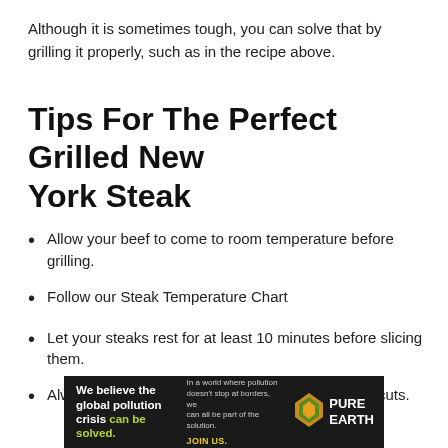Although it is sometimes tough, you can solve that by grilling it properly, such as in the recipe above.
Tips For The Perfect Grilled New York Steak
Allow your beef to come to room temperature before grilling.
Follow our Steak Temperature Chart
Let your steaks rest for at least 10 minutes before slicing them.
Always slice against the grain for the most tender cuts.
[Figure (infographic): Advertisement banner for Pure Earth. Black background. Left: bold white text 'We believe the global pollution crisis' with 'can be solved.' in green/yellow. Middle: small white text 'In a world where pollution doesn't stop at borders, we can all be part of the solution.' and 'JOIN US.' in yellow. Right: Pure Earth logo — orange/green diamond icon and white bold 'PURE EARTH' text.]